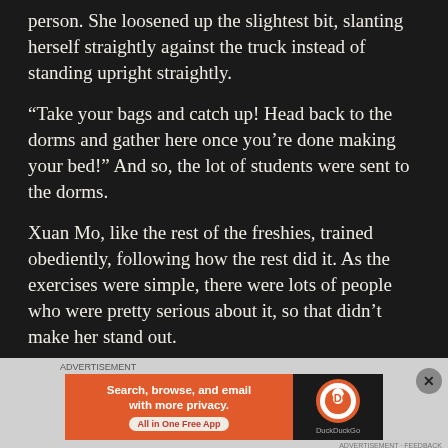person. She loosened up the slightest bit, slanting herself straightly against the truck instead of standing upright straightly.
“Take your bags and catch up! Head back to the dorms and gather here once you’re done making your bed!” And so, the lot of students were sent to the dorms.
Xuan Mo, like the rest of the freshies, trained obediently, following how the rest did it. As the exercises were simple, there were lots of people who were pretty serious about it, so that didn’t make her stand out.
[Figure (screenshot): Advertisement banner for DuckDuckGo app: orange section with text 'Search, browse, and email with more privacy. All in One Free App' and dark section with DuckDuckGo logo]